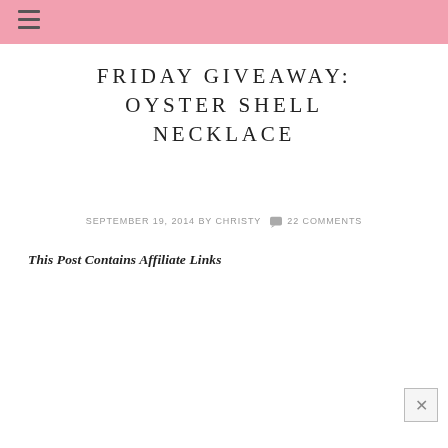≡
FRIDAY GIVEAWAY: OYSTER SHELL NECKLACE
SEPTEMBER 19, 2014 BY CHRISTY 💬 22 COMMENTS
This Post Contains Affiliate Links